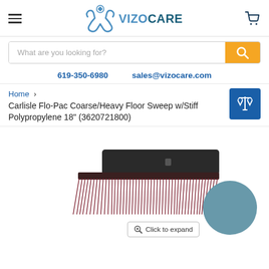VIZOCARE
What are you looking for?
619-350-6980   sales@vizocare.com
Home > Carlisle Flo-Pac Coarse/Heavy Floor Sweep w/Stiff Polypropylene 18" (3620721800)
[Figure (photo): Product photo of a Carlisle Flo-Pac floor sweep brush with dark reddish-maroon bristles and black handle block, viewed from the side. A steel-blue circular color swatch is shown to the right.]
Click to expand